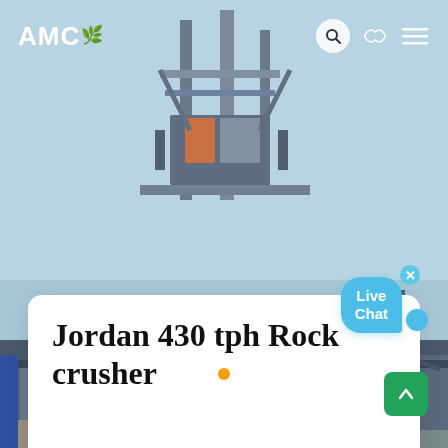[Figure (photo): Industrial rock crusher machinery with steel framework structure and conveyor components, photographed against a light blue sky background. Heavy equipment with metallic grey structural supports visible in both upper and lower sections of the image.]
AMC
Jordan 430 tph Rock crusher